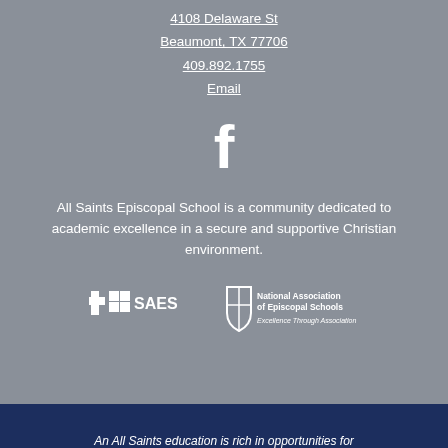4108 Delaware St
Beaumont, TX 77706
409.892.1755
Email
[Figure (illustration): White Facebook 'f' logo icon on gray background]
All Saints Episcopal School is a community dedicated to academic excellence in a secure and supportive Christian environment.
[Figure (logo): SAES logo - white cross and grid square with SAES text]
[Figure (logo): National Association of Episcopal Schools logo with shield and text 'Excellence Through Association']
An All Saints education is rich in opportunities for